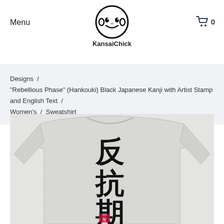Menu | KansaiChick | Cart 0
Designs / "Rebellious Phase" (Hankouki) Black Japanese Kanji with Artist Stamp and English Text / Women's / Sweatshirt
[Figure (photo): A light grey heather crew-neck sweatshirt with large black Japanese kanji characters 反抗期 printed on the front chest area, and a small red artist stamp at the bottom.]